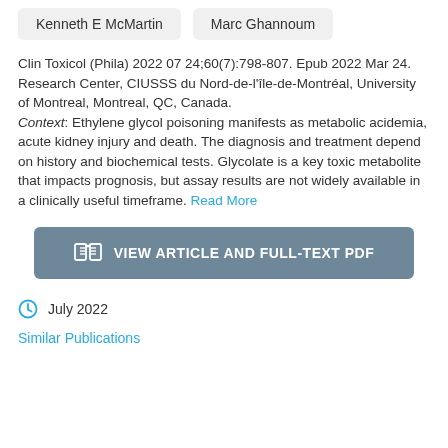Kenneth E McMartin   Marc Ghannoum
Clin Toxicol (Phila) 2022 07 24;60(7):798-807. Epub 2022 Mar 24.
Research Center, CIUSSS du Nord-de-l'île-de-Montréal, University of Montreal, Montreal, QC, Canada.
Context: Ethylene glycol poisoning manifests as metabolic acidemia, acute kidney injury and death. The diagnosis and treatment depend on history and biochemical tests. Glycolate is a key toxic metabolite that impacts prognosis, but assay results are not widely available in a clinically useful timeframe. Read More
VIEW ARTICLE AND FULL-TEXT PDF
July 2022
Similar Publications